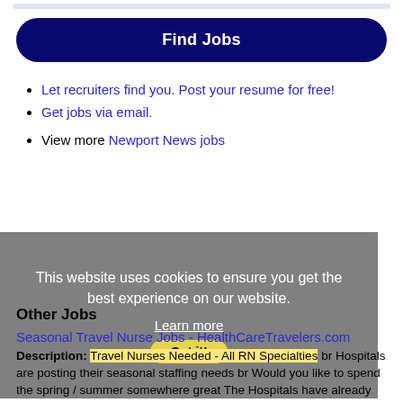[Figure (screenshot): Top of a search input field, partially visible, with blue rounded background]
Find Jobs
Let recruiters find you. Post your resume for free!
Get jobs via email.
View more Newport News jobs
This website uses cookies to ensure you get the best experience on our website.
Learn more
Got it!
Other Jobs
Seasonal Travel Nurse Jobs - HealthCareTravelers.com
Description: Travel Nurses Needed - All RN Specialties br Hospitals are posting their seasonal staffing needs br Would you like to spend the spring / summer somewhere great The Hospitals have already started (more...)